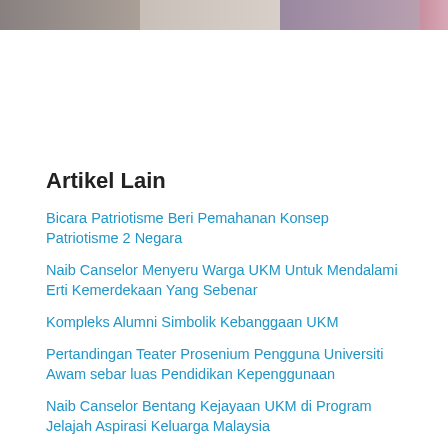[Figure (photo): Cropped photo strip showing partial faces/heads of people, visible at the top of the page]
Artikel Lain
Bicara Patriotisme Beri Pemahanan Konsep Patriotisme 2 Negara
Naib Canselor Menyeru Warga UKM Untuk Mendalami Erti Kemerdekaan Yang Sebenar
Kompleks Alumni Simbolik Kebanggaan UKM
Pertandingan Teater Prosenium Pengguna Universiti Awam sebar luas Pendidikan Kepenggunaan
Naib Canselor Bentang Kejayaan UKM di Program Jelajah Aspirasi Keluarga Malaysia
Perlawanan Persahabatan Bola Tampar antara UKM dan LavAni Sengit
Masyarakat Dunia Hadapi 3 Cabaran Utama: Geopolitik, Ekonomi dan Iklim – SBY